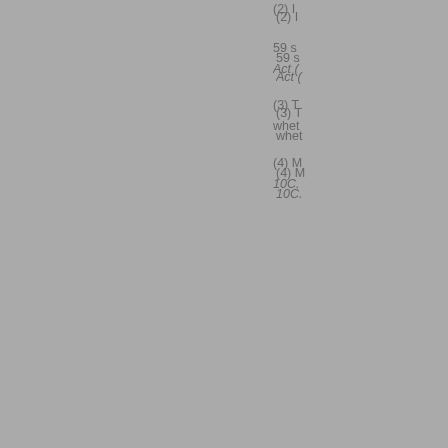07/03/2016
[Figure (other): Stack/layers icon in teal-bordered box]
(2) I
59 s
Act (
(3) T
whet
(4) M
10C.
SUP 10C.12.2
[Figure (other): Grade G box]
07/03/2016
[Figure (other): Stack/layers icon in teal-bordered box]
(1) T
appl
(2) A
func
this 
(3) T
pers
SUP
(4) T